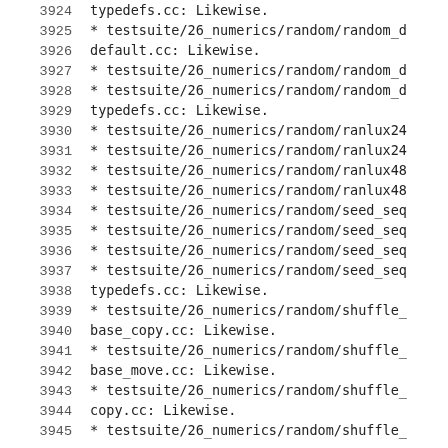3924    typedefs.cc: Likewise.
3925    * testsuite/26_numerics/random/random_d
3926    default.cc: Likewise.
3927    * testsuite/26_numerics/random/random_d
3928    * testsuite/26_numerics/random/random_d
3929    typedefs.cc: Likewise.
3930    * testsuite/26_numerics/random/ranlux24
3931    * testsuite/26_numerics/random/ranlux24
3932    * testsuite/26_numerics/random/ranlux48
3933    * testsuite/26_numerics/random/ranlux48
3934    * testsuite/26_numerics/random/seed_seq
3935    * testsuite/26_numerics/random/seed_seq
3936    * testsuite/26_numerics/random/seed_seq
3937    * testsuite/26_numerics/random/seed_seq
3938    typedefs.cc: Likewise.
3939    * testsuite/26_numerics/random/shuffle_
3940    base_copy.cc: Likewise.
3941    * testsuite/26_numerics/random/shuffle_
3942    base_move.cc: Likewise.
3943    * testsuite/26_numerics/random/shuffle_
3944    copy.cc: Likewise.
3945    * testsuite/26_numerics/random/shuffle_